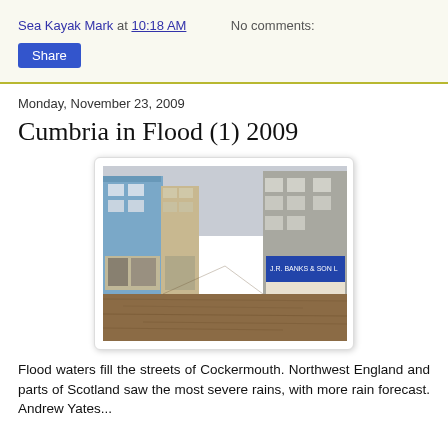Sea Kayak Mark at 10:18 AM   No comments:
Share
Monday, November 23, 2009
Cumbria in Flood (1) 2009
[Figure (photo): Flood waters filling the streets of Cockermouth, UK. Brown murky flood water covers the street with multi-story shopfronts on both sides. Sign 'J.R. Banks & Son' visible on right.]
Flood waters fill the streets of Cockermouth. Northwest England and parts of Scotland saw the most severe rains, with more rain forecast. Andrew Yates...